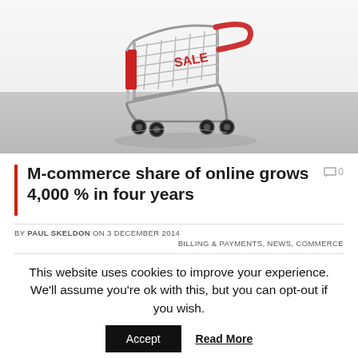[Figure (photo): A silver metal miniature shopping cart with red accents on a reflective grey surface, photographed from a slightly elevated angle against a white background.]
M-commerce share of online grows 4,000 % in four years
BY PAUL SKELDON ON 3 DECEMBER 2014
BILLING & PAYMENTS, NEWS, COMMERCE
This website uses cookies to improve your experience. We'll assume you're ok with this, but you can opt-out if you wish.
Accept  Read More